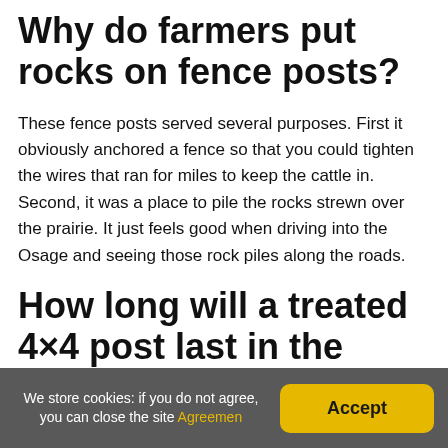Why do farmers put rocks on fence posts?
These fence posts served several purposes. First it obviously anchored a fence so that you could tighten the wires that ran for miles to keep the cattle in. Second, it was a place to pile the rocks strewn over the prairie. It just feels good when driving into the Osage and seeing those rock piles along the roads.
How long will a treated 4×4 post last in the ground?
We store cookies: if you do not agree, you can close the site Agreement